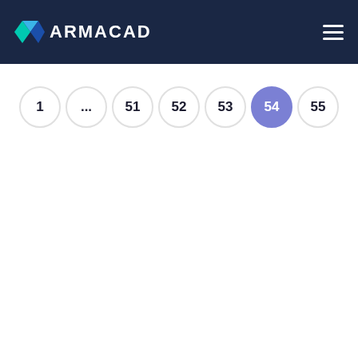ARMACAD
[Figure (other): Pagination navigation showing page circles: 1, ..., 51, 52, 53, 54 (active/highlighted), 55]